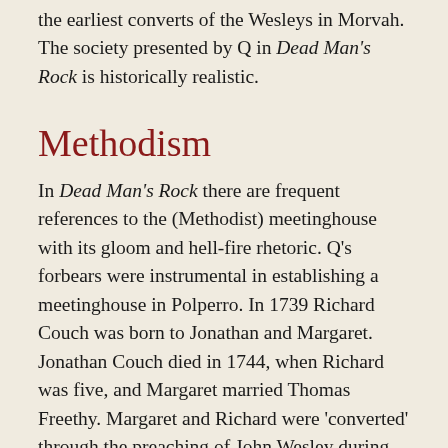the earliest converts of the Wesleys in Morvah. The society presented by Q in Dead Man's Rock is historically realistic.
Methodism
In Dead Man's Rock there are frequent references to the (Methodist) meetinghouse with its gloom and hell-fire rhetoric. Q's forbears were instrumental in establishing a meetinghouse in Polperro. In 1739 Richard Couch was born to Jonathan and Margaret. Jonathan Couch died in 1744, when Richard was five, and Margaret married Thomas Freethy. Margaret and Richard were 'converted' through the preaching of John Wesley during one of his three visits to Polperro. Richard married Philippa Minards, probably another convert, and a meetinghouse was established in the village. A description of the Polperro meetinghouse